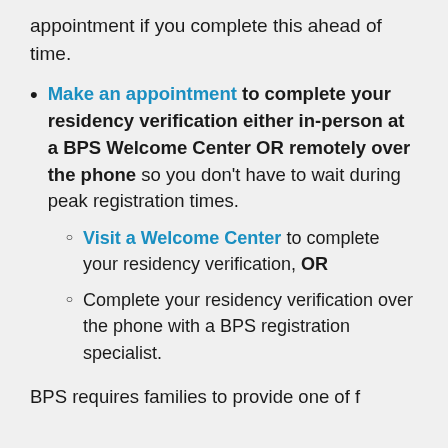appointment if you complete this ahead of time.
Make an appointment to complete your residency verification either in-person at a BPS Welcome Center OR remotely over the phone so you don't have to wait during peak registration times.
Visit a Welcome Center to complete your residency verification, OR
Complete your residency verification over the phone with a BPS registration specialist.
BPS requires families to provide one of f